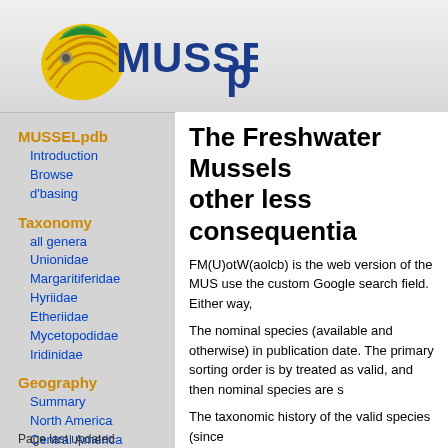[Figure (logo): MUSSELp logo with mussel shell graphic and blue text]
MUSSELpdb
Introduction
Browse
d'basing
Taxonomy
all genera
Unionidae
Margaritiferidae
Hyriidae
Etheriidae
Mycetopodidae
Iridinidae
Geography
Summary
North America
Central America
South America
Afrotropics
North Eurasia
East Asia
Australasia
Page last updated
The Freshwater Mussels other less consequentia
FM(U)otW(aolcb) is the web version of the MUS use the custom Google search field. Either way,
The nominal species (available and otherwise) i publication date. The primary sorting order is by treated as valid, and then nominal species are s
The taxonomic history of the valid species (since
Search the database pages:
Bivalvia | Unionoida | Unionoidea | Margaritiferidae | Marga
species Margaritifera falcata (Go
1 specimen available.